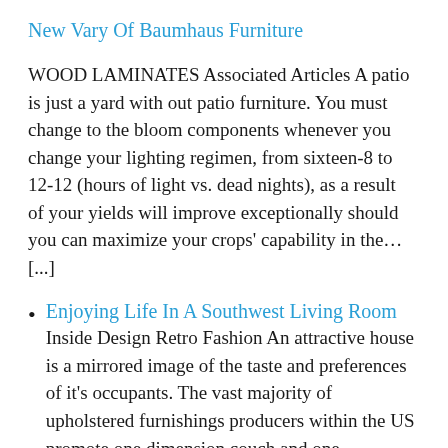New Vary Of Baumhaus Furniture
WOOD LAMINATES Associated Articles A patio is just a yard with out patio furniture. You must change to the bloom components whenever you change your lighting regimen, from sixteen-8 to 12-12 (hours of light vs. dead nights), as a result of your yields will improve exceptionally should you can maximize your crops' capability in the… [...]
Enjoying Life In A Southwest Living Room
Inside Design Retro Fashion An attractive house is a mirrored image of the taste and preferences of it's occupants. The vast majority of upholstered furnishings producers within the US promote one dimension couch and one dimension